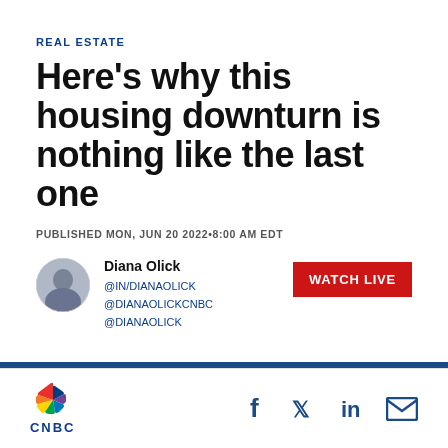REAL ESTATE
Here's why this housing downturn is nothing like the last one
PUBLISHED MON, JUN 20 2022•8:00 AM EDT
Diana Olick @IN/DIANAOLICK @DIANAOLICKCNBC @DIANAOLICK
[Figure (other): WATCH LIVE red button]
[Figure (logo): CNBC peacock logo with CNBC text]
[Figure (other): Social share icons: Facebook, Twitter, LinkedIn, Email]